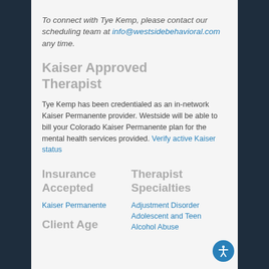To connect with Tye Kemp, please contact our scheduling team at info@westsidebehavioral.com any time.
Kaiser Approved Therapist
Tye Kemp has been credentialed as an in-network Kaiser Permanente provider. Westside will be able to bill your Colorado Kaiser Permanente plan for the mental health services provided. Verify active Kaiser status
Insurance Accepted
Therapist Specialties
Kaiser Permanente
Adjustment Disorder Adolescent and Teen Alcohol Abuse
Client Age